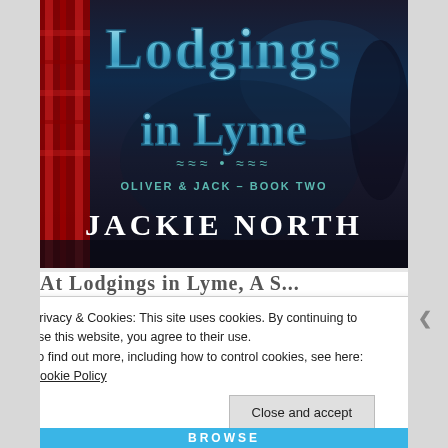[Figure (illustration): Book cover for 'Lodgings in Lyme' by Jackie North, Oliver & Jack Book Two. Dark atmospheric cover with teal/blue stylized title text, tartan fabric visible on left side, subtitle 'OLIVER & JACK – BOOK TWO' and author name 'JACKIE NORTH' in white.]
At Lodgings in Lyme, A S...
Privacy & Cookies: This site uses cookies. By continuing to use this website, you agree to their use.
To find out more, including how to control cookies, see here: Cookie Policy
Close and accept